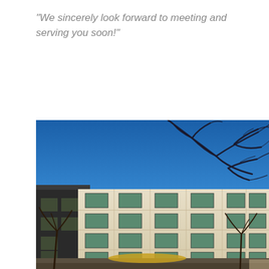"We sincerely look forward to meeting and serving you soon!"
[Figure (photo): Exterior photograph of a modern multi-story office or medical building with cream/beige stone cladding, rows of rectangular windows, a dark lower section on the left, and bare winter trees in the foreground and background against a clear deep blue sky.]